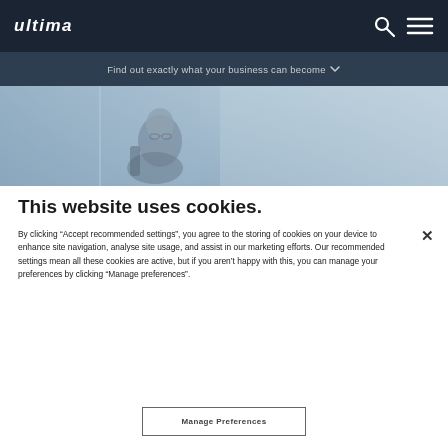ultima
Find out exactly what your business can become
[Figure (photo): Background photo of a person sitting at a desk, viewed through glass, blurred/muted blue-grey tone]
This website uses cookies.
By clicking “Accept recommended settings”, you agree to the storing of cookies on your device to enhance site navigation, analyse site usage, and assist in our marketing efforts. Our recommended settings mean all these cookies are active, but if you aren’t happy with this, you can manage your preferences by clicking “Manage preferences”.
Manage Preferences